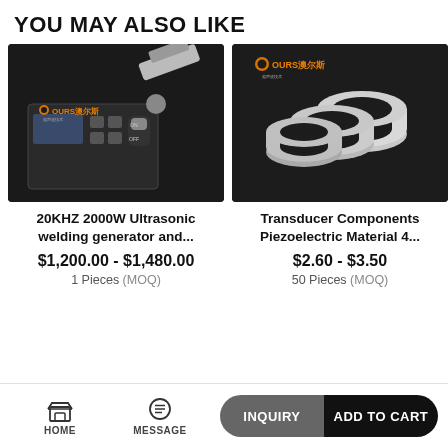YOU MAY ALSO LIKE
[Figure (photo): 20KHZ 2000W Ultrasonic welding generator product photo with OURS brand logo on dark background]
20KHZ 2000W Ultrasonic welding generator and...
$1,200.00 - $1,480.00
1 Pieces (MOQ)
[Figure (photo): Transducer Components Piezoelectric Material rings/discs product photo with OURS brand logo on dark background]
Transducer Components Piezoelectric Material 4...
$2.60 - $3.50
50 Pieces (MOQ)
HOME   MESSAGE   INQUIRY   ADD TO CART